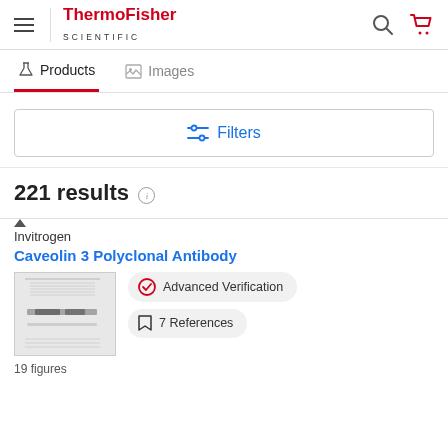[Figure (logo): ThermoFisher Scientific logo with hamburger menu, search and cart icons]
Products | Images tabs
Filters button
221 results
Invitrogen
Caveolin 3 Polyclonal Antibody
[Figure (photo): Western blot image showing Caveolin 3 antibody results]
Advanced Verification
7 References
19 figures